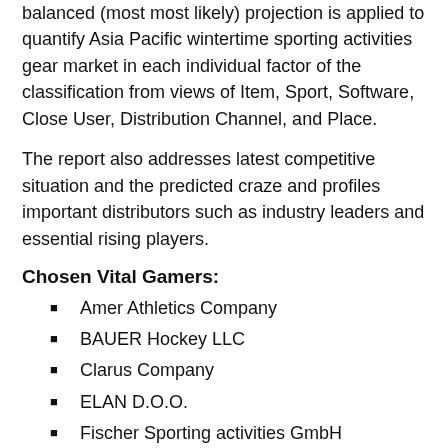balanced (most most likely) projection is applied to quantify Asia Pacific wintertime sporting activities gear market in each individual factor of the classification from views of Item, Sport, Software, Close User, Distribution Channel, and Place.
The report also addresses latest competitive situation and the predicted craze and profiles important distributors such as industry leaders and essential rising players.
Chosen Vital Gamers:
Amer Athletics Company
BAUER Hockey LLC
Clarus Company
ELAN D.O.O.
Fischer Sporting activities GmbH
Head Uk Ltd.